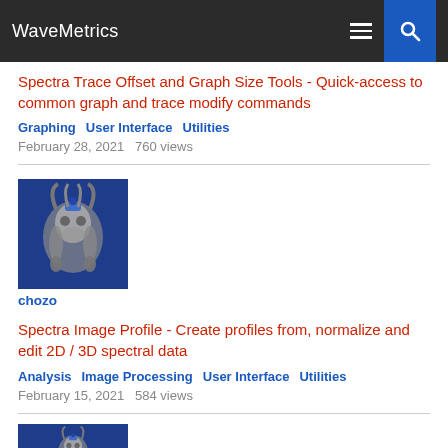WaveMetrics
Spectra Trace Offset and Graph Size Tools - Quick-access to common graph and trace modify commands
Graphing   User Interface   Utilities
February 28, 2021   760 views
[Figure (photo): User avatar image for chozo - stylized robot/creature on blue background]
chozo
Spectra Image Profile - Create profiles from, normalize and edit 2D / 3D spectral data
Analysis   Image Processing   User Interface   Utilities
February 15, 2021   584 views
[Figure (photo): Partial user avatar image - stylized creature on blue background (cropped at bottom)]